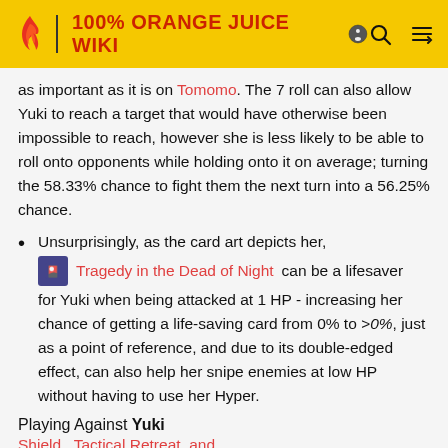100% ORANGE JUICE WIKI
as important as it is on Tomomo. The 7 roll can also allow Yuki to reach a target that would have otherwise been impossible to reach, however she is less likely to be able to roll onto opponents while holding onto it on average; turning the 58.33% chance to fight them the next turn into a 56.25% chance.
Unsurprisingly, as the card art depicts her, Tragedy in the Dead of Night can be a lifesaver for Yuki when being attacked at 1 HP - increasing her chance of getting a life-saving card from 0% to >0%, just as a point of reference, and due to its double-edged effect, can also help her snipe enemies at low HP without having to use her Hyper.
Playing Against Yuki
Shield   Tactical Retreat   and